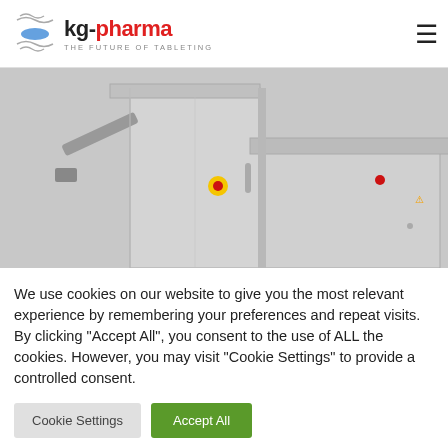kg-pharma THE FUTURE OF TABLETING
[Figure (photo): Industrial tablet press / pharma tableting machine in stainless steel with control panel, emergency stop button (yellow/red), and mounted arm components.]
We use cookies on our website to give you the most relevant experience by remembering your preferences and repeat visits. By clicking "Accept All", you consent to the use of ALL the cookies. However, you may visit "Cookie Settings" to provide a controlled consent.
Cookie Settings | Accept All